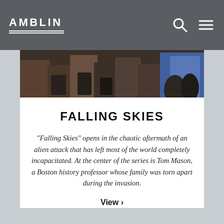AMBLIN
[Figure (photo): A partially visible photograph showing people in dark clothing with a blue element on the right side, appearing to be from the TV show Falling Skies]
FALLING SKIES
"Falling Skies" opens in the chaotic aftermath of an alien attack that has left most of the world completely incapacitated. At the center of the series is Tom Mason, a Boston history professor whose family was torn apart during the invasion.
View >